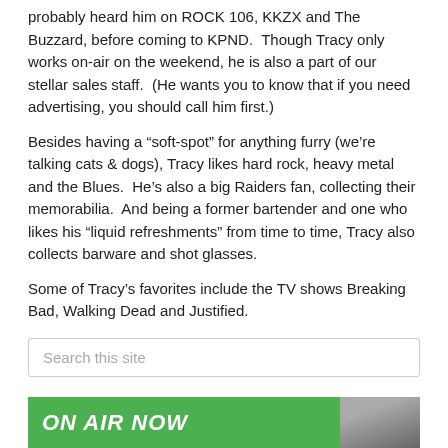probably heard him on ROCK 106, KKZX and The Buzzard, before coming to KPND.  Though Tracy only works on-air on the weekend, he is also a part of our stellar sales staff.  (He wants you to know that if you need advertising, you should call him first.)
Besides having a “soft-spot” for anything furry (we’re talking cats & dogs), Tracy likes hard rock, heavy metal and the Blues.  He’s also a big Raiders fan, collecting their memorabilia.  And being a former bartender and one who likes his “liquid refreshments” from time to time, Tracy also collects barware and shot glasses.
Some of Tracy’s favorites include the TV shows Breaking Bad, Walking Dead and Justified.
To contact Tracy, email him at tracybell@blueskybroadcasting.com
[episode id=306]
[Figure (other): Search box with placeholder text 'Search this site']
[Figure (other): Green banner with 'ON AIR NOW' text and a photo of a person]